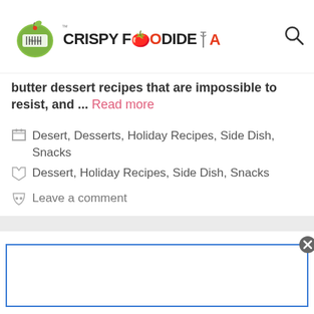CRISPYFOODIDEA
butter dessert recipes that are impossible to resist, and ... Read more
Desert, Desserts, Holiday Recipes, Side Dish, Snacks
Dessert, Holiday Recipes, Side Dish, Snacks
Leave a comment